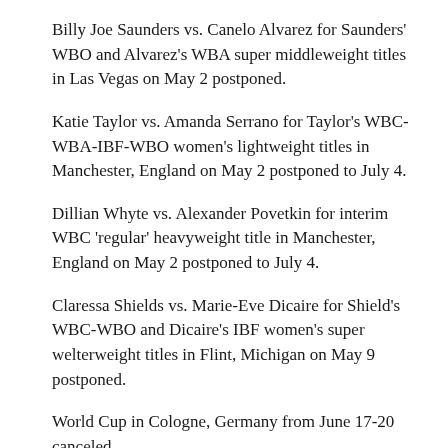Billy Joe Saunders vs. Canelo Alvarez for Saunders' WBO and Alvarez's WBA super middleweight titles in Las Vegas on May 2 postponed.
Katie Taylor vs. Amanda Serrano for Taylor's WBC-WBA-IBF-WBO women's lightweight titles in Manchester, England on May 2 postponed to July 4.
Dillian Whyte vs. Alexander Povetkin for interim WBC 'regular' heavyweight title in Manchester, England on May 2 postponed to July 4.
Claressa Shields vs. Marie-Eve Dicaire for Shield's WBC-WBO and Dicaire's IBF women's super welterweight titles in Flint, Michigan on May 9 postponed.
World Cup in Cologne, Germany from June 17-20 canceled.
Anthony Joshua vs. Kubrat Pulev for Joshua's WBA